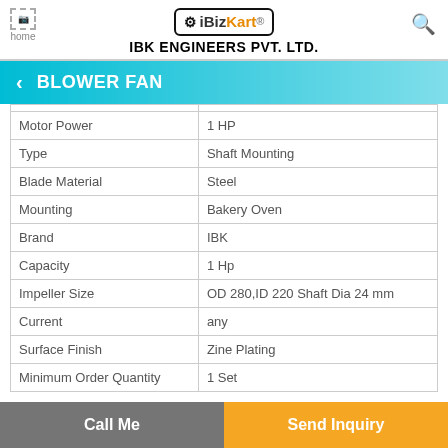iBizKart — IBK ENGINEERS PVT. LTD.
BLOWER FAN
| Property | Value |
| --- | --- |
| Motor Power | 1 HP |
| Type | Shaft Mounting |
| Blade Material | Steel |
| Mounting | Bakery Oven |
| Brand | IBK |
| Capacity | 1 Hp |
| Impeller Size | OD 280,ID 220 Shaft Dia 24 mm |
| Current | any |
| Surface Finish | Zine Plating |
| Minimum Order Quantity | 1 Set |
Call Me | Send Inquiry